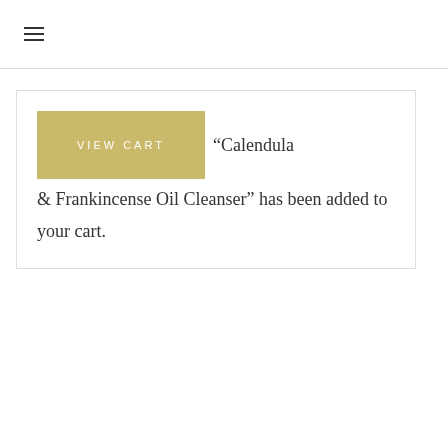☰
VIEW CART “Calendula & Frankincense Oil Cleanser” has been added to your cart.